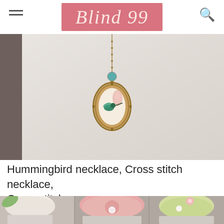Blind 99
[Figure (photo): Close-up photo of a person wearing a white sweater with a hummingbird cross stitch pendant necklace on a bronze chain with a turquoise bead.]
Hummingbird necklace, Cross stitch necklace, Cross stitch
[Figure (photo): Top-down view of multiple pink and green frosted cupcakes decorated with flower designs in pink and white, with green leaf accents.]